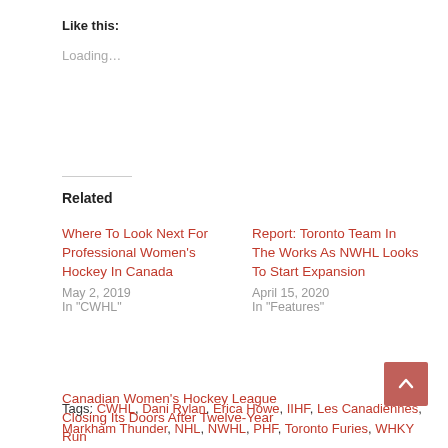Like this:
Loading...
Related
Where To Look Next For Professional Women's Hockey In Canada
May 2, 2019
In "CWHL"
Report: Toronto Team In The Works As NWHL Looks To Start Expansion
April 15, 2020
In "Features"
Canadian Women's Hockey League Closing Its Doors After Twelve-Year Run
April 2, 2019
In "CWHL"
Tags: CWHL, Dani Rylan, Erica Howe, IIHF, Les Canadiennes, Markham Thunder, NHL, NWHL, PHF, Toronto Furies, WHKY